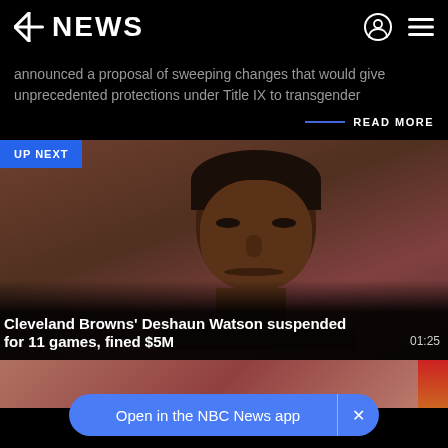NBC NEWS
announced a proposal of sweeping changes that would give unprecedented protections under Title IX to transgender
READ MORE
[Figure (photo): Video thumbnail showing a close-up portrait of a Black man (Deshaun Watson) with a serious expression, blurred background. 'UP NEXT' badge in upper left corner.]
Cleveland Browns' Deshaun Watson suspended for 11 games, fined $5M
01:25
[Figure (photo): Partial bottom strip showing another video thumbnail.]
Open in the NBC News app  ×